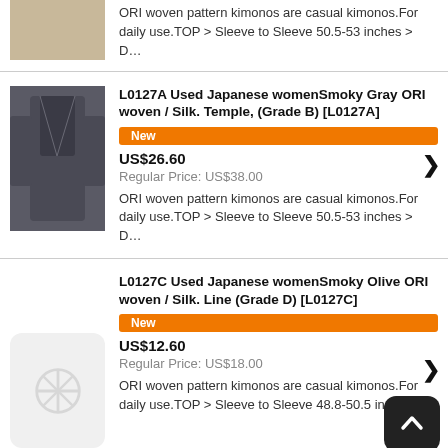[Figure (photo): Partial view of a kimono product image at top of page]
ORI woven pattern kimonos are casual kimonos.For daily use.TOP > Sleeve to Sleeve 50.5-53 inches > D…
L0127A Used Japanese womenSmoky Gray ORI woven / Silk. Temple, (Grade B) [L0127A]
New
US$26.60
Regular Price: US$38.00
ORI woven pattern kimonos are casual kimonos.For daily use.TOP > Sleeve to Sleeve 50.5-53 inches > D…
[Figure (photo): Gray kimono product photo]
L0127C Used Japanese womenSmoky Olive ORI woven / Silk. Line (Grade D) [L0127C]
New
US$12.60
Regular Price: US$18.00
ORI woven pattern kimonos are casual kimonos.For daily use.TOP > Sleeve to Sleeve 48.8-50.5 inches >…
[Figure (photo): Placeholder image for second product]